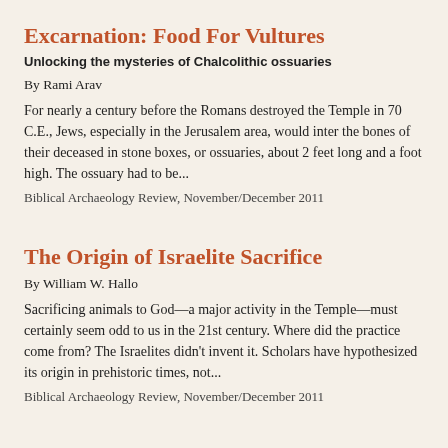Excarnation: Food For Vultures
Unlocking the mysteries of Chalcolithic ossuaries
By Rami Arav
For nearly a century before the Romans destroyed the Temple in 70 C.E., Jews, especially in the Jerusalem area, would inter the bones of their deceased in stone boxes, or ossuaries, about 2 feet long and a foot high. The ossuary had to be...
Biblical Archaeology Review, November/December 2011
The Origin of Israelite Sacrifice
By William W. Hallo
Sacrificing animals to God—a major activity in the Temple—must certainly seem odd to us in the 21st century. Where did the practice come from? The Israelites didn't invent it. Scholars have hypothesized its origin in prehistoric times, not...
Biblical Archaeology Review, November/December 2011